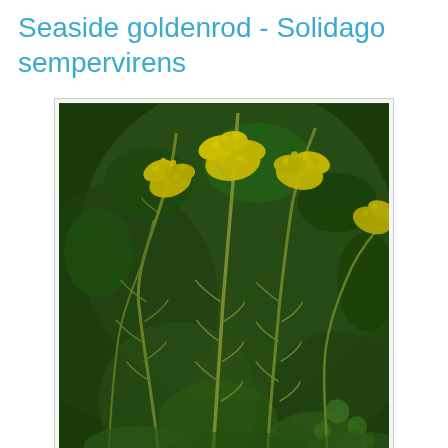Seaside goldenrod - Solidago sempervirens
[Figure (photo): Photograph of Solidago sempervirens (Seaside goldenrod) showing tall stems with feathery yellow flower clusters against a dark green leafy background]